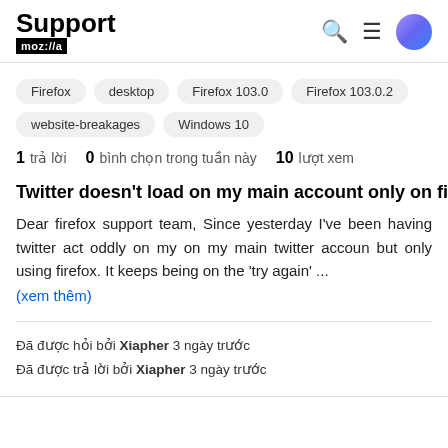Support moz://a
Firefox
desktop
Firefox 103.0
Firefox 103.0.2
website-breakages
Windows 10
1 trả lời  0  bình chọn trong tuần này  10  lượt xem
Twitter doesn't load on my main account only on firefo
Dear firefox support team, Since yesterday I've been having twitter act oddly on my on my main twitter account but only using firefox. It keeps being on the 'try again' ... (xem thêm)
Đã được hỏi bởi Xiapher 3 ngày trước
Đã được trả lời bởi Xiapher 3 ngày trước